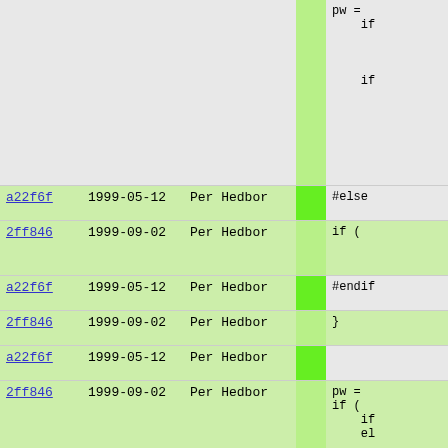| hash | date | author | diff | code |
| --- | --- | --- | --- | --- |
|  |  |  |  | pw =
    if


    if |
| a22f6f | 1999-05-12 | Per Hedbor |  | #else |
| 2ff846 | 1999-09-02 | Per Hedbor |  | if ( |
| a22f6f | 1999-05-12 | Per Hedbor |  | #endif |
| 2ff846 | 1999-09-02 | Per Hedbor |  | } |
| a22f6f | 1999-05-12 | Per Hedbor |  |  |
| 2ff846 | 1999-09-02 | Per Hedbor |  | pw =
if (
    if
    el


}
if (
    u
    if
} |
| a22f6f | 1999-05-12 | Per Hedbor |  |  |
| 2ff846 | 1999-09-02 | Per Hedbor |  | #ifdef THR |